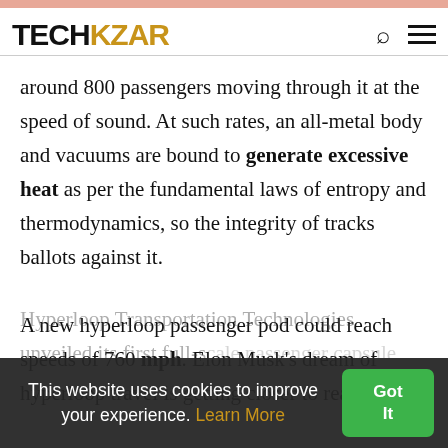TECHKZAR
around 800 passengers moving through it at the speed of sound. At such rates, an all-metal body and vacuums are bound to generate excessive heat as per the fundamental laws of entropy and thermodynamics, so the integrity of tracks ballots against it.

A new hyperloop passenger pod could reach speeds of 760 mph. Elon Musk’s dream of hyperloop travel is getting closer to reality.
Hyperloop Transportation Technologies unveiled its first full-scale passenger capsule, more that it says utilizes
This website uses cookies to improve your experience. Learn More
Got It